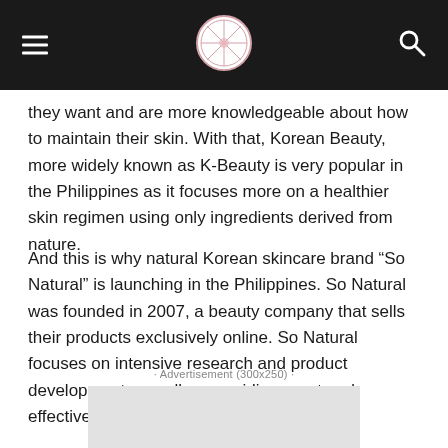[Navigation bar with hamburger menu, logo, and search icon]
they want and are more knowledgeable about how to maintain their skin. With that, Korean Beauty, more widely known as K-Beauty is very popular in the Philippines as it focuses more on a healthier skin regimen using only ingredients derived from nature.
And this is why natural Korean skincare brand “So Natural” is launching in the Philippines. So Natural was founded in 2007, a beauty company that sells their products exclusively online. So Natural focuses on intensive research and product development as well as providing great and effective products for their customers.
· Advertisement (300x250) ·
[Figure (other): Advertisement placeholder box (300x250), light gray background]